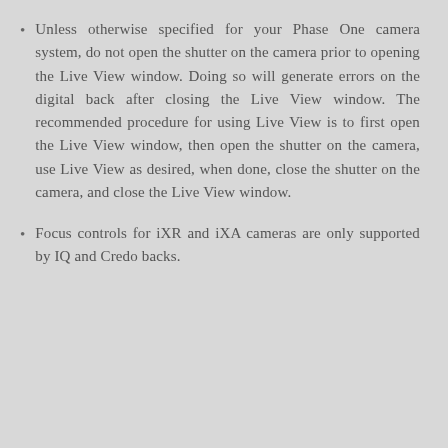Unless otherwise specified for your Phase One camera system, do not open the shutter on the camera prior to opening the Live View window. Doing so will generate errors on the digital back after closing the Live View window. The recommended procedure for using Live View is to first open the Live View window, then open the shutter on the camera, use Live View as desired, when done, close the shutter on the camera, and close the Live View window.
Focus controls for iXR and iXA cameras are only supported by IQ and Credo backs.